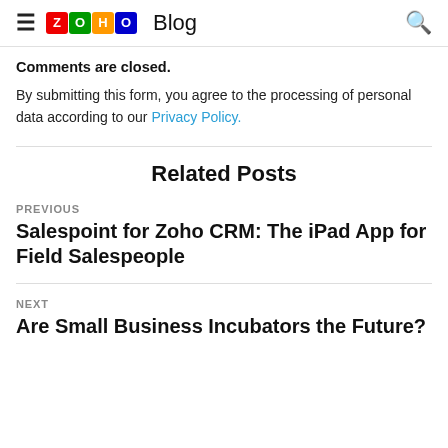Zoho Blog
Comments are closed.
By submitting this form, you agree to the processing of personal data according to our Privacy Policy.
Related Posts
PREVIOUS
Salespoint for Zoho CRM: The iPad App for Field Salespeople
NEXT
Are Small Business Incubators the Future?